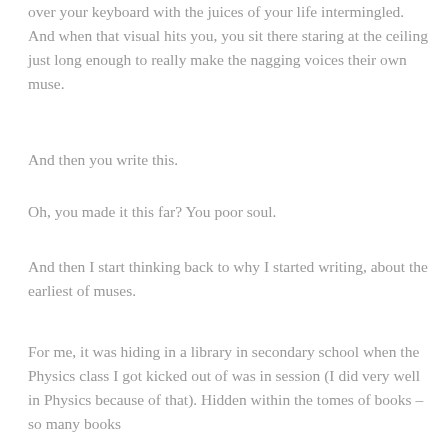over your keyboard with the juices of your life intermingled. And when that visual hits you, you sit there staring at the ceiling just long enough to really make the nagging voices their own muse.
And then you write this.
Oh, you made it this far? You poor soul.
And then I start thinking back to why I started writing, about the earliest of muses.
For me, it was hiding in a library in secondary school when the Physics class I got kicked out of was in session (I did very well in Physics because of that). Hidden within the tomes of books – so many books